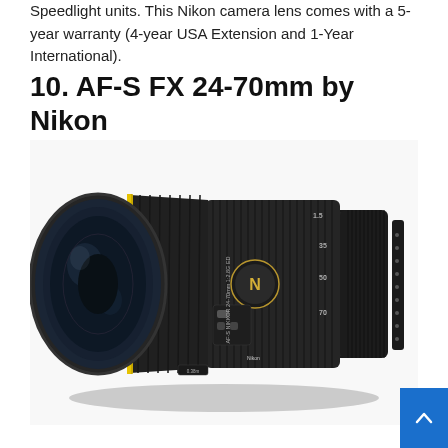Speedlight units. This Nikon camera lens comes with a 5-year warranty (4-year USA Extension and 1-Year International).
10. AF-S FX 24-70mm by Nikon
[Figure (photo): Photo of a Nikon AF-S Nikkor 24-70mm f/2.8G ED camera lens, shown at an angle, finished in black with gold trim ring and Nikon branding.]
[Figure (other): Blue scroll-to-top button with upward chevron arrow in bottom-right corner.]